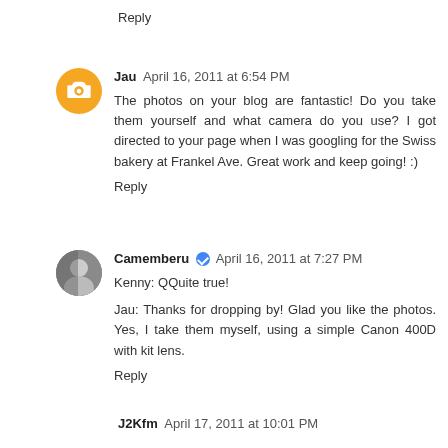Reply
Jau  April 16, 2011 at 6:54 PM
The photos on your blog are fantastic! Do you take them yourself and what camera do you use? I got directed to your page when I was googling for the Swiss bakery at Frankel Ave. Great work and keep going! :)
Reply
Camemberu  April 16, 2011 at 7:27 PM
Kenny: QQuite true!
Jau: Thanks for dropping by! Glad you like the photos. Yes, I take them myself, using a simple Canon 400D with kit lens.
Reply
J2Kfm  April 17, 2011 at 10:01 PM